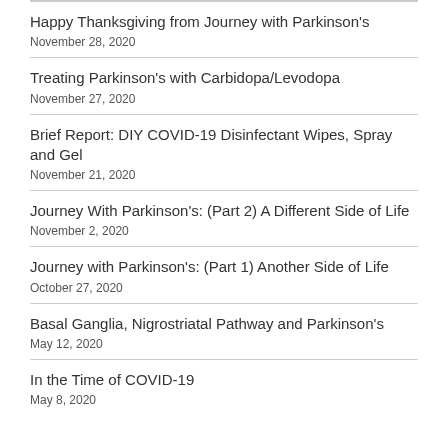Happy Thanksgiving from Journey with Parkinson's
November 28, 2020
Treating Parkinson's with Carbidopa/Levodopa
November 27, 2020
Brief Report: DIY COVID-19 Disinfectant Wipes, Spray and Gel
November 21, 2020
Journey With Parkinson's: (Part 2) A Different Side of Life
November 2, 2020
Journey with Parkinson's: (Part 1) Another Side of Life
October 27, 2020
Basal Ganglia, Nigrostriatal Pathway and Parkinson's
May 12, 2020
In the Time of COVID-19
May 8, 2020